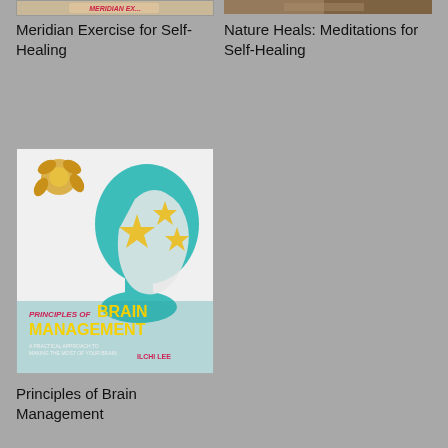[Figure (photo): Partial book cover image for Meridian Exercise for Self-Healing at the top of the page, cropped]
Meridian Exercise for Self-Healing
[Figure (photo): Partial book cover image for Nature Heals: Meditations for Self-Healing at the top of the page, cropped]
Nature Heals: Meditations for Self-Healing
[Figure (photo): Book cover for Principles of Brain Management showing a teal human head silhouette with gold stars, by Ilchi Lee]
Principles of Brain Management